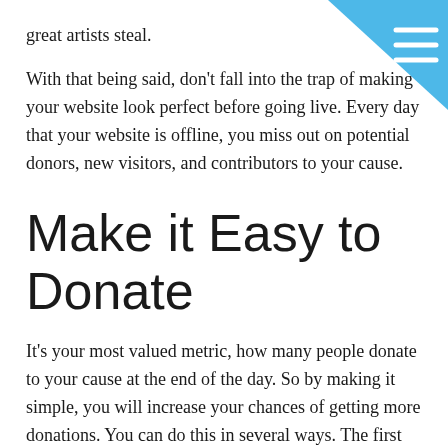great artists steal.
[Figure (illustration): Blue triangle in top-right corner with hamburger menu icon (three white horizontal lines)]
With that being said, don't fall into the trap of making your website look perfect before going live. Every day that your website is offline, you miss out on potential donors, new visitors, and contributors to your cause.
Make it Easy to Donate
It's your most valued metric, how many people donate to your cause at the end of the day. So by making it simple, you will increase your chances of getting more donations. You can do this in several ways. The first and most important one is having the Donate button visible